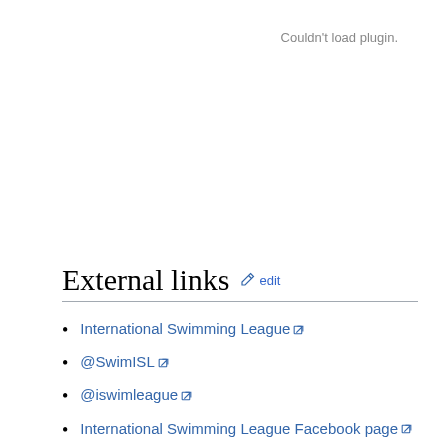Couldn't load plugin.
External links
International Swimming League
@SwimISL
@iswimleague
International Swimming League Facebook page
World Open Water Swimming Association
Open Water Swimming